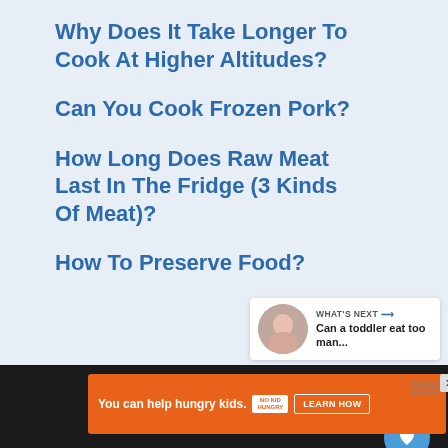Why Does It Take Longer To Cook At Higher Altitudes?
Can You Cook Frozen Pork?
How Long Does Raw Meat Last In The Fridge (3 Kinds Of Meat)?
How To Preserve Food?
[Figure (screenshot): Social share/heart floating buttons on right side]
[Figure (screenshot): What's Next widget with thumbnail photo and text: Can a toddler eat too man...]
[Figure (screenshot): Orange ad banner: You can help hungry kids. NO KID HUNGRY logo. LEARN HOW button. Close X.]